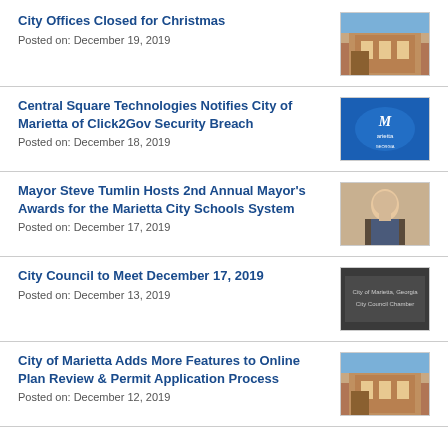City Offices Closed for Christmas
Posted on: December 19, 2019
[Figure (photo): City hall building exterior photo]
Central Square Technologies Notifies City of Marietta of Click2Gov Security Breach
Posted on: December 18, 2019
[Figure (photo): Marietta city logo on blue background]
Mayor Steve Tumlin Hosts 2nd Annual Mayor's Awards for the Marietta City Schools System
Posted on: December 17, 2019
[Figure (photo): Portrait photo of Mayor Steve Tumlin]
City Council to Meet December 17, 2019
Posted on: December 13, 2019
[Figure (photo): City of Marietta, Georgia City Council Chamber sign]
City of Marietta Adds More Features to Online Plan Review & Permit Application Process
Posted on: December 12, 2019
[Figure (photo): City building exterior photo]